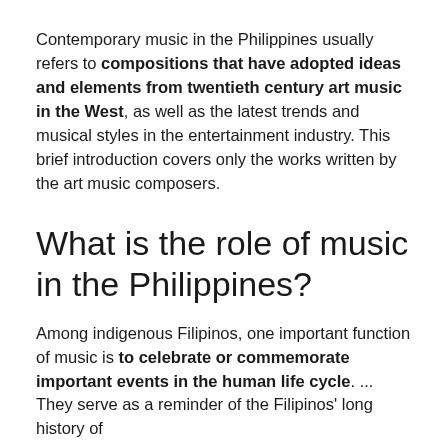Contemporary music in the Philippines usually refers to compositions that have adopted ideas and elements from twentieth century art music in the West, as well as the latest trends and musical styles in the entertainment industry. This brief introduction covers only the works written by the art music composers.
What is the role of music in the Philippines?
Among indigenous Filipinos, one important function of music is to celebrate or commemorate important events in the human life cycle. ... They serve as a reminder of the Filipinos' long history of